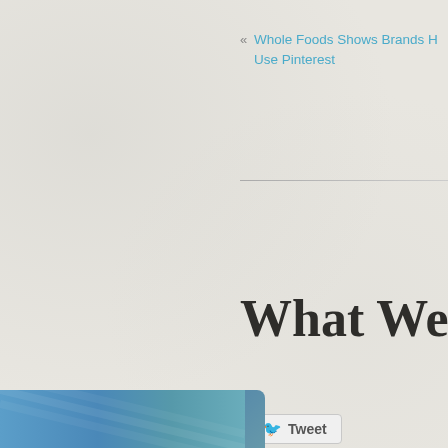« Whole Foods Shows Brands How to Use Pinterest
What Were Yo
[Figure (screenshot): Tweet button with Twitter bird icon]
[Figure (logo): Timehop logo on teal/blue-green gradient background]
We provide strategy & solutions for brands & individuals trying to effectively communicate online.
DROP US A LINE